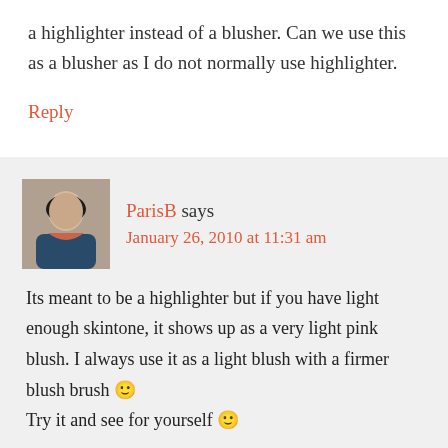a highlighter instead of a blusher. Can we use this as a blusher as I do not normally use highlighter.
Reply
ParisB says
January 26, 2010 at 11:31 am
Its meant to be a highlighter but if you have light enough skintone, it shows up as a very light pink blush. I always use it as a light blush with a firmer blush brush 🙂 Try it and see for yourself 🙂